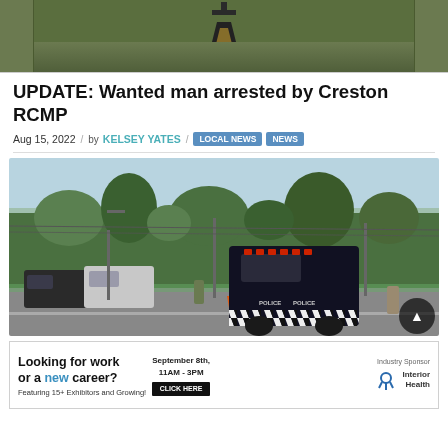[Figure (photo): Close-up photo of a person in olive/green clothing, with a dark lantern or pendant visible]
UPDATE: Wanted man arrested by Creston RCMP
Aug 15, 2022  /  by KELSEY YATES  /  LOCAL NEWS  NEWS
[Figure (photo): Police armored SWAT vehicle and other police vehicles on a street blocked off, trees in background]
[Figure (photo): Advertisement banner: Looking for work or a new career? Featuring 15+ Exhibitors and Growing! September 8th, 11AM - 3PM. CLICK HERE. Industry Sponsor Interior Health.]